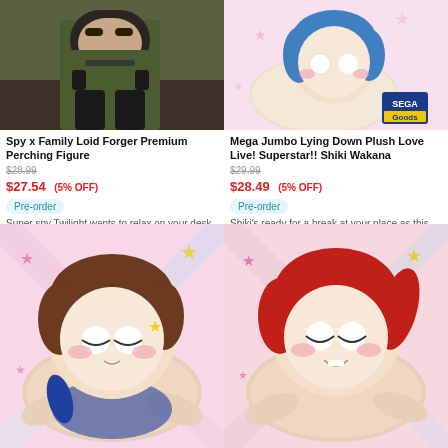[Figure (photo): Spy x Family Loid Forger Premium Perching Figure product photo - man in dark green suit seated]
Spy x Family Loid Forger Premium Perching Figure
$28.99 (strikethrough original price)
$27.54 (5% OFF)
Pre-order
Super spy Twilight wants to relax on your desk or shelf!
[Figure (photo): Mega Jumbo Lying Down Plush Love Live! Superstar!! Shiki Wakana - blue-haired chibi plushie on pink background with SEGA Goods logo]
Mega Jumbo Lying Down Plush Love Live! Superstar!! Shiki Wakana
$29.99 (strikethrough original price)
$28.49 (5% OFF)
Pre-order
Shiki's ready for a break at your place as this adorable plushie!
[Figure (photo): Mega Jumbo Lying Down Plush - brown-haired chibi plushie on pink background]
[Figure (photo): Mega Jumbo Lying Down Plush - red-haired chibi plushie on pink background]